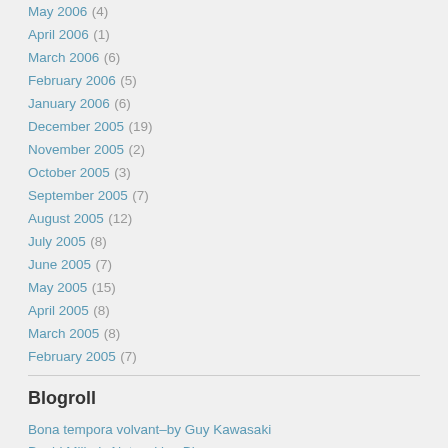May 2006 (4)
April 2006 (1)
March 2006 (6)
February 2006 (5)
January 2006 (6)
December 2005 (19)
November 2005 (2)
October 2005 (3)
September 2005 (7)
August 2005 (12)
July 2005 (8)
June 2005 (7)
May 2005 (15)
April 2005 (8)
March 2005 (8)
February 2005 (7)
Blogroll
Bona tempora volvant–by Guy Kawasaki
David Miller's Networking Blog
Deliberately different blog
FLOSS in India